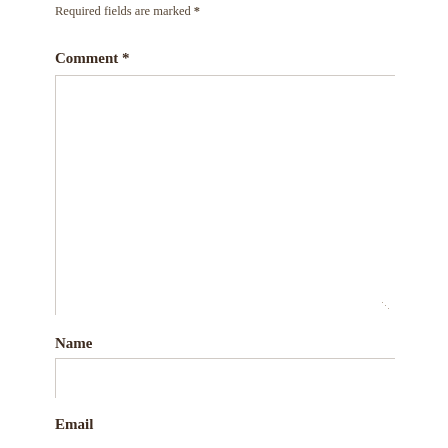Required fields are marked *
Comment *
[Figure (other): Empty comment textarea input box with resize handle at bottom right]
Name
[Figure (other): Empty name text input box]
Email